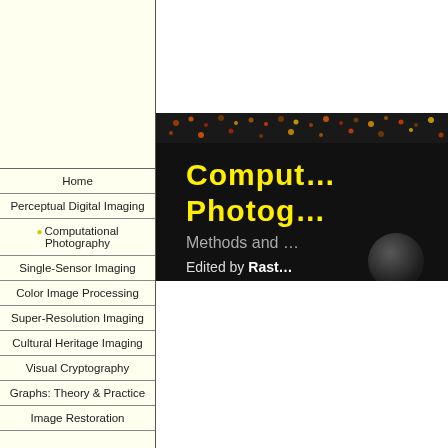Home
Perceptual Digital Imaging
Computational Photography
Single-Sensor Imaging
Color Image Processing
Super-Resolution Imaging
Cultural Heritage Imaging
Visual Cryptography
Graphs: Theory & Practice
Image Restoration
A new book on Computational Photography
Explore image processing and analysis techniques
A volume in the Digital Imaging series
[Figure (photo): Book cover of Computational Photography: Methods and Applications, edited by Rastislav Lukac. Dark background with yellow title text and dots pattern.]